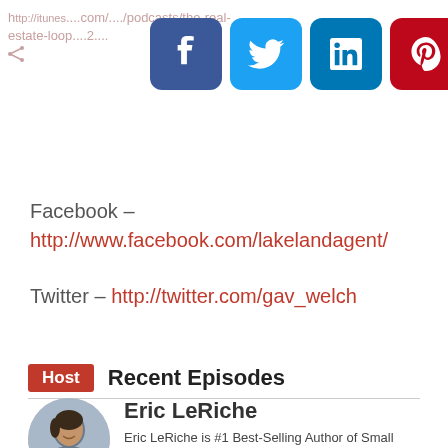http://itunes...com/.../podcasts/the-real-estate-loop...2...
[Figure (infographic): Four social media share buttons: Facebook (blue), Twitter (light blue), LinkedIn (dark blue), Pinterest (red)]
Facebook –
http://www.facebook.com/lakelandagent/
Twitter – http://twitter.com/gav_welch
Host  Recent Episodes
Eric LeRiche
[Figure (photo): Circular headshot photo of Eric LeRiche, a man with dark hair]
Eric LeRiche is #1 Best-Selling Author of Small Business - Big Ideas, host of Business Innovators Radio Show and a contributi...